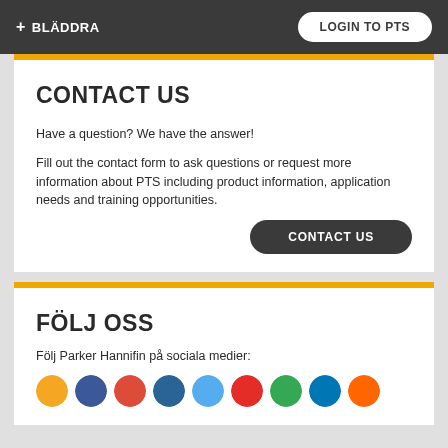+ BLÄDDRA   LOGIN TO PTS
CONTACT US
Have a question? We have the answer!
Fill out the contact form to ask questions or request more information about PTS including product information, application needs and training opportunities.
CONTACT US
FÖLJ OSS
Följ Parker Hannifin på sociala medier:
[Figure (other): Row of social media icons (circular): yellow, blue, red, dark teal, light blue, red-pink, green, dark blue, orange]